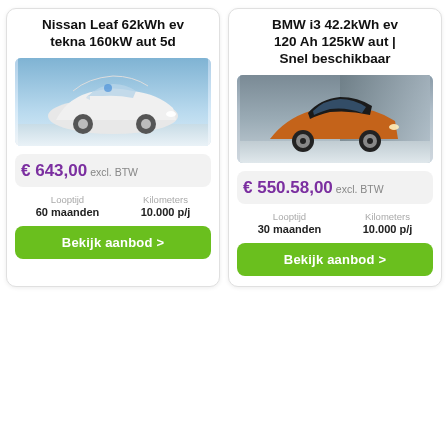Nissan Leaf 62kWh ev tekna 160kW aut 5d
[Figure (photo): Photo of a white Nissan Leaf electric car against a blue sky background]
€ 643,00 excl. BTW
Looptijd 60 maanden | Kilometers 10.000 p/j
Bekijk aanbod >
BMW i3 42.2kWh ev 120 Ah 125kW aut | Snel beschikbaar
[Figure (photo): Photo of an orange/copper BMW i3 electric car against a grey building background]
€ 550.58,00 excl. BTW
Looptijd 30 maanden | Kilometers 10.000 p/j
Bekijk aanbod >